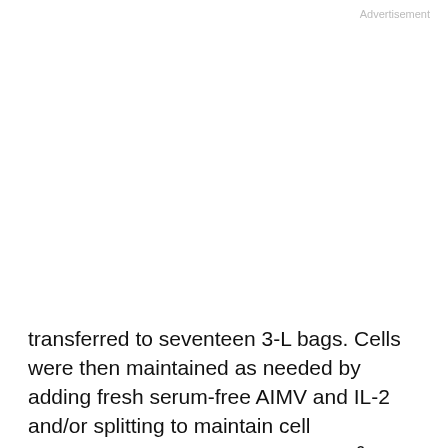Advertisement
transferred to seventeen 3-L bags. Cells were then maintained as needed by adding fresh serum-free AIMV and IL-2 and/or splitting to maintain cell concentrations between 1 to 3 × 10^6 cells/mL. The strategy used to maintain this cell concentration varied significantly between patients, but on average, the total volume of serum-free AIMV added during the final stages of cell
preparation was 30 L. Also, the average overall time to complete the NK cell expansions was 21 days.
This site uses cookies. By continuing to use our website, you are agreeing to our privacy policy.
Accept
Clinical trial